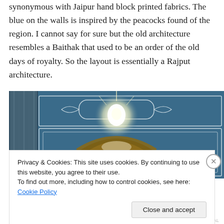synonymous with Jaipur hand block printed fabrics. The blue on the walls is inspired by the peacocks found of the region. I cannot say for sure but the old architecture resembles a Baithak that used to be an order of the old days of royalty. So the layout is essentially a Rajput architecture.
[Figure (photo): Interior architectural photo showing a blue wall with white ornamental plasterwork borders and panels, a bright glowing light source (lamp or bulb) at the top center, and an arched golden/brown archway below, in Rajput style architecture.]
Privacy & Cookies: This site uses cookies. By continuing to use this website, you agree to their use.
To find out more, including how to control cookies, see here: Cookie Policy
Close and accept
HIPERTEXTUAL